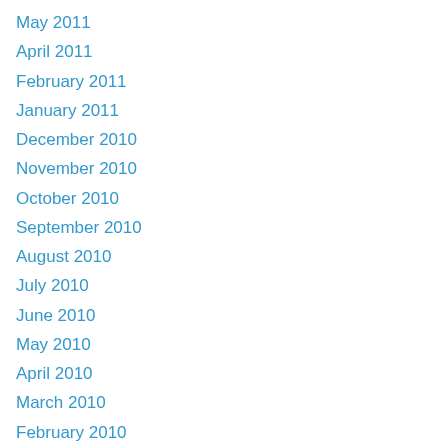May 2011
April 2011
February 2011
January 2011
December 2010
November 2010
October 2010
September 2010
August 2010
July 2010
June 2010
May 2010
April 2010
March 2010
February 2010
January 2010
November 2009
August 2009
July 2009
June 2009